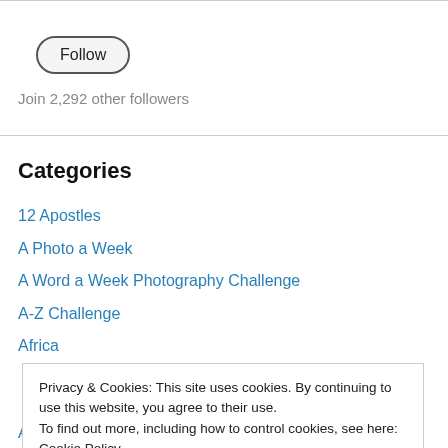[Figure (other): Follow button — rounded pill-shaped button with label 'Follow']
Join 2,292 other followers
Categories
12 Apostles
A Photo a Week
A Word a Week Photography Challenge
A-Z Challenge
Africa
Privacy & Cookies: This site uses cookies. By continuing to use this website, you agree to their use.
To find out more, including how to control cookies, see here: Cookie Policy
Anchorage